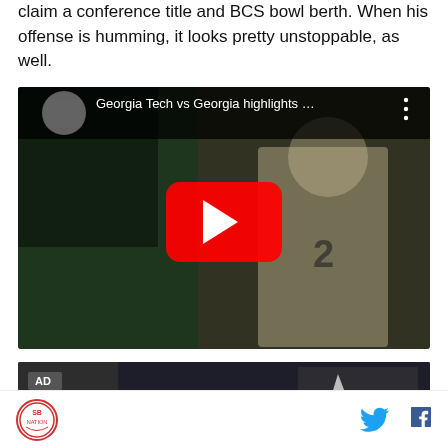claim a conference title and BCS bowl berth. When his offense is humming, it looks pretty unstoppable, as well.
[Figure (screenshot): YouTube video embed thumbnail showing Georgia Tech vs Georgia highlights, with a football player in white uniform on a dark field, red play button overlay in center]
[Figure (screenshot): Advertisement video thumbnail with AD badge in upper left, dark image with crowd in background]
Logo icon on left, Twitter and Facebook social icons on right